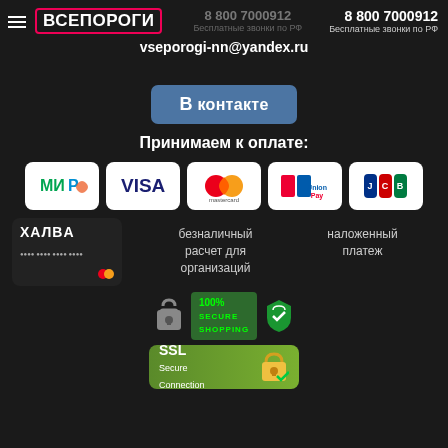ВСЕ ПОРОГИ  8 800 7000912  Бесплатные звонки по РФ
vseporogi-nn@yandex.ru
[Figure (logo): ВКонтакте social media button]
Принимаем к оплате:
[Figure (infographic): Payment method logos: МИР, VISA, Mastercard, UnionPay, JCB, Халва, безналичный расчет для организаций, наложенный платеж]
[Figure (infographic): 100% Secure Shopping badge with Sberbank logo and SSL Secure Connection badge]